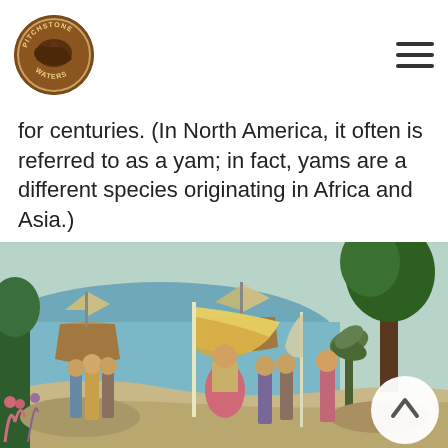Pitchstone Waters logo and navigation
for centuries. (In North America, it often is referred to as a yam; in fact, yams are a different species originating in Africa and Asia.)
[Figure (illustration): Historical painting depicting Columbus landing in the Americas, with Spanish ships in the background, explorers carrying flags and banners on a tropical shoreline with lush vegetation.]